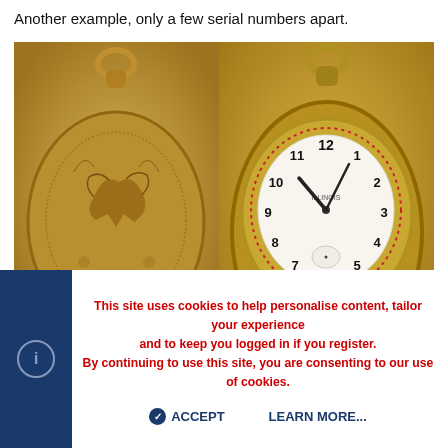Another example, only a few serial numbers apart.
[Figure (photo): Two side-by-side photos of antique gold pocket watches. Left image shows the engraved back of the watch with decorative bird motif. Right image shows the open front face of the watch displaying the clock face with Roman and Arabic numerals and hands.]
[Figure (photo): Partial image of a rose-gold colored watch chain or component, partially visible at the bottom of the page.]
This site uses cookies to help personalise content, tailor your experience and to keep you logged in if you register. By continuing to use this site, you are consenting to our use of cookies.
ACCEPT
LEARN MORE...